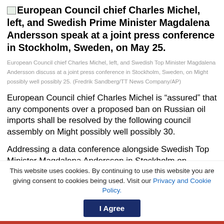European Council chief Charles Michel, left, and Swedish Prime Minister Magdalena Andersson speak at a joint press conference in Stockholm, Sweden, on May 25.
European Council chief Charles Michel, left, and Swedish Top Minister Magdalena Andersson discuss at a joint press conference in Stockholm, Sweden, on Might possibly well possibly 25. (Fredrik Sandberg/TT News Company/AP)
European Council chief Charles Michel is “assured” that any components over a proposed ban on Russian oil imports shall be resolved by the following council assembly on Might possibly well possibly 30.
Addressing a data conference alongside Swedish Top Minister Magdalena Andersson in Stockholm on Wednesday, Michel mentioned that though he was
This website uses cookies. By continuing to use this website you are giving consent to cookies being used. Visit our Privacy and Cookie Policy.